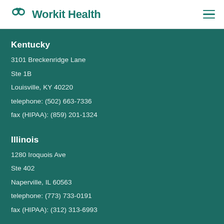Workit Health
Kentucky
3101 Breckenridge Lane
Ste 1B
Louisville, KY 40220
telephone: (502) 663-7336
fax (HIPAA): (859) 201-1324
Illinois
1280 Iroquois Ave
Ste 402
Naperville, IL 60563
telephone: (773) 733-0191
fax (HIPAA): (312) 313-6993